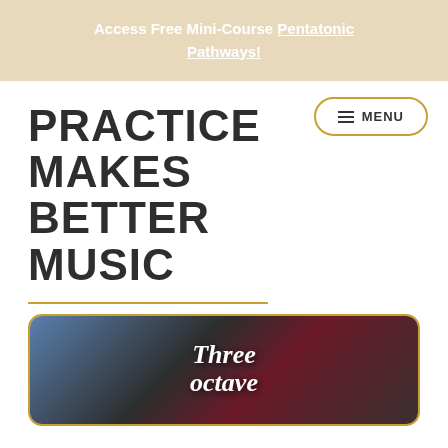Access Free Mini-Course Pentatonic Pathways!
PRACTICE MAKES BETTER MUSIC
[Figure (screenshot): Navigation menu button with hamburger icon and text MENU inside a rounded rectangle border in gold color]